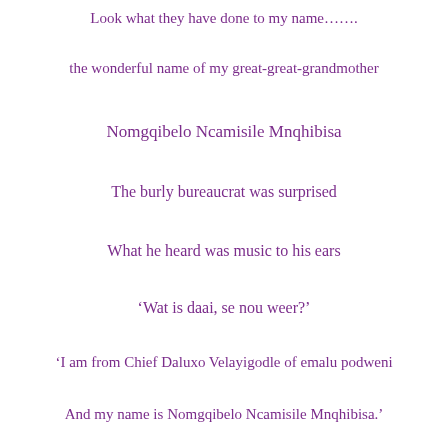Look what they have done to my name…….
the wonderful name of my great-great-grandmother
Nomgqibelo Ncamisile Mnqhibisa
The burly bureaucrat was surprised
What he heard was music to his ears
‘Wat is daai, se nou weer?’
‘I am from Chief Daluxo Velayigodle of emalu podweni
And my name is Nomgqibelo Ncamisile Mnqhibisa.’